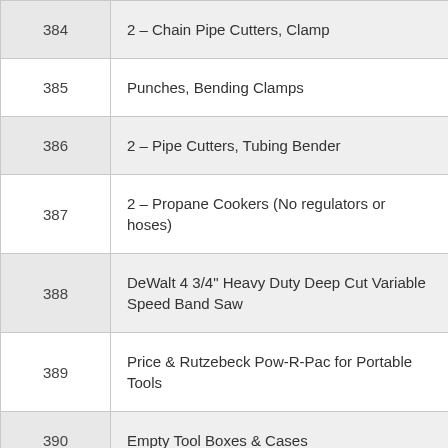| # | Description |
| --- | --- |
| 384 | 2 – Chain Pipe Cutters, Clamp |
| 385 | Punches, Bending Clamps |
| 386 | 2 – Pipe Cutters, Tubing Bender |
| 387 | 2 – Propane Cookers (No regulators or hoses) |
| 388 | DeWalt 4 3/4" Heavy Duty Deep Cut Variable Speed Band Saw |
| 389 | Price & Rutzebeck Pow-R-Pac for Portable Tools |
| 390 | Empty Tool Boxes & Cases |
| 391 | Chain Fall Trolley |